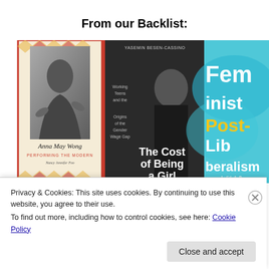From our Backlist:
[Figure (photo): Three book covers side by side: 'Anna May Wong: Performing the Modern' by Nancy Jennifer Foo (black and white photo with decorative border), 'The Cost of Being a Girl: Working Teens and the Origins of the Gender Wage Gap' by Yasemin Besen-Cassino (photo of a young woman in black), and 'Feminist Post-Liberalism' by Judith A. Baer (blue painted background with large text).]
Privacy & Cookies: This site uses cookies. By continuing to use this website, you agree to their use.
To find out more, including how to control cookies, see here: Cookie Policy